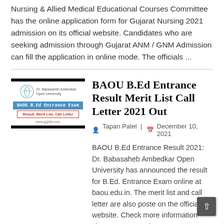Nursing & Allied Medical Educational Courses Committee has the online application form for Gujarat Nursing 2021 admission on its official website. Candidates who are seeking admission through Gujarat ANM / GNM Admission can fill the application in online mode. The officials ...
[Figure (illustration): BAOU B.Ed Entrance Exam Result, Merit List, Call Letter thumbnail image with Dr. Babasaheb Ambedkar Open University logo, blue header bar, red bordered subtitle, and website URL www.gujinfo.com]
BAOU B.Ed Entrance Result Merit List Call Letter 2021 Out
Tapan Patel | December 10, 2021
BAOU B.Ed Entrance Result 2021: Dr. Babasaheb Ambedkar Open University has announced the result for B.Ed. Entrance Exam online at baou.edu.in. The merit list and call letter are also posted on the official website. Check more information about BAOU B.Ed. Entrance